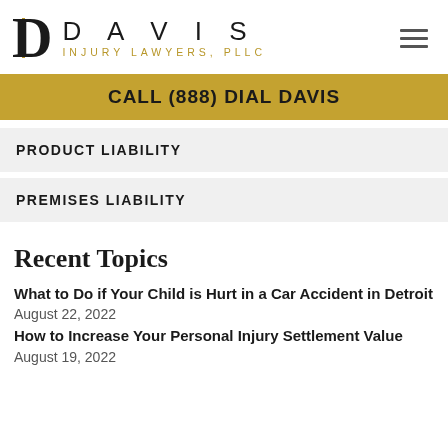[Figure (logo): Davis Injury Lawyers PLLC logo with large serif D and gold accent line, followed by DAVIS in spaced caps and INJURY LAWYERS, PLLC in gold]
CALL (888) DIAL DAVIS
PRODUCT LIABILITY
PREMISES LIABILITY
Recent Topics
What to Do if Your Child is Hurt in a Car Accident in Detroit
August 22, 2022
How to Increase Your Personal Injury Settlement Value
August 19, 2022